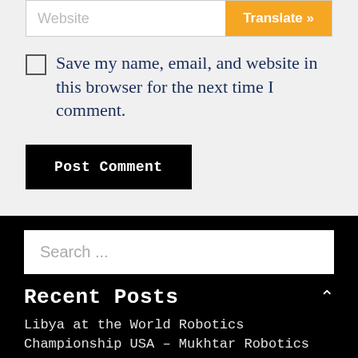[Figure (screenshot): Website text input field with orange 'Translate »' button on the right]
Save my name, email, and website in this browser for the next time I comment.
Post Comment
Search ...
Recent Posts
Libya at the World Robotics Championship USA – Mukhtar Robotics Team